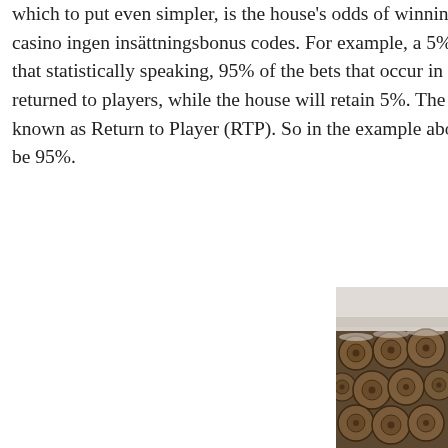which to put even simpler, is the house's odds of winning the game, bitstarz casino ingen insättningsbonus codes. For example, a 5% house edge means that statistically speaking, 95% of the bets that occur in the slot will be returned to players, while the house will retain 5%. The house edge is also known as Return to Player (RTP). So in the example above, the RTP would be 95%.
Bitcoin casino winners:
Captain Shark - 26.9 ltc
Vintage Vegas - 429.5 bch
Koi Kingdom - 665.9 eth
Ned and his Friends - 148.3 ltc
Ten Times Wins - 342.4 dog
Atlantis Queen - 540.5 usdt
Wicked Circus - 526.6 ltc
Dinosaur Adventure - 639.9 usdt
Dragon Kingdom - 80.1 dog
Firemen - 223 btc
Football Star - 251.1 dog
[Figure (photo): Photo of stacked logs/timber viewed from the end, showing circular cross-sections with a misty/foggy landscape visible in the background.]